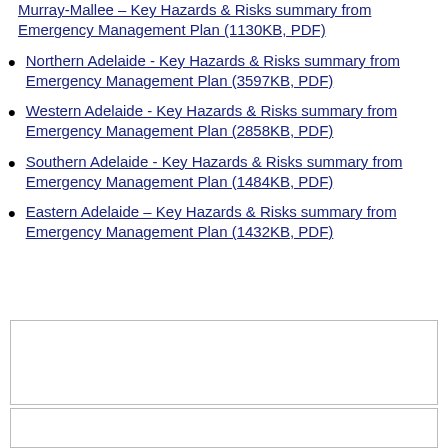Murray-Mallee – Key Hazards & Risks summary from Emergency Management Plan (1130KB, PDF)
Northern Adelaide - Key Hazards & Risks summary from Emergency Management Plan (3597KB, PDF)
Western Adelaide - Key Hazards & Risks summary from Emergency Management Plan (2858KB, PDF)
Southern Adelaide - Key Hazards & Risks summary from Emergency Management Plan (1484KB, PDF)
Eastern Adelaide – Key Hazards & Risks summary from Emergency Management Plan (1432KB, PDF)